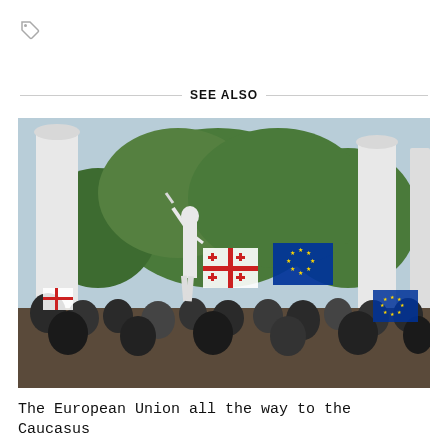[Figure (other): Tag/label icon in the top left corner of the page]
SEE ALSO
[Figure (photo): Outdoor protest or rally scene showing a crowd of people, a white statue of a figure holding a sword/cross aloft, flanked by tall white columns. People in the crowd hold the Georgian national flag (white with red crosses) and the EU flag (blue with yellow stars). Trees are visible in the background.]
The European Union all the way to the Caucasus